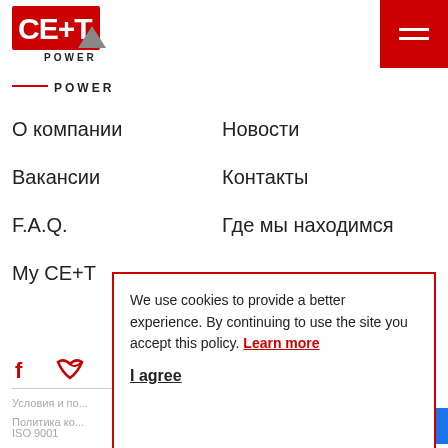[Figure (logo): CE+T Power logo in red with triangular mountain icon]
[Figure (logo): CE+T Power secondary logo with red line and POWER text]
О компании
Новости
Вакансии
Контакты
F.A.Q.
Где мы находимся
My CE+T
We use cookies to provide a better experience. By continuing to use the site you accept this policy. Learn more

I agree
Условия и по...
Политика ко...
ISO 9001